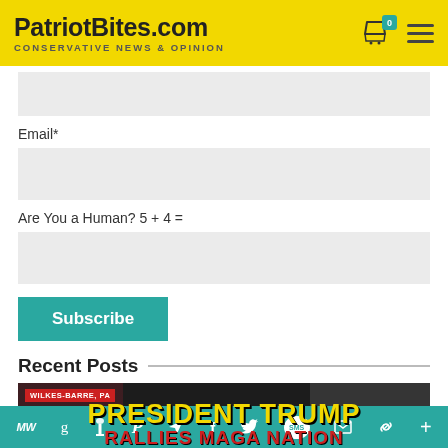PatriotBites.com CONSERVATIVE NEWS & OPINION
Email*
Are You a Human? 5 + 4 =
Subscribe
Recent Posts
[Figure (screenshot): Thumbnail image showing WILKES-BARRE, PA label with text PRESIDENT TRUMP RALLIES MAGA NATION]
Social sharing bar with icons: MW, G, torch/patriot, P, paper plane, F, Twitter bird, SMS, mail, chain link, plus